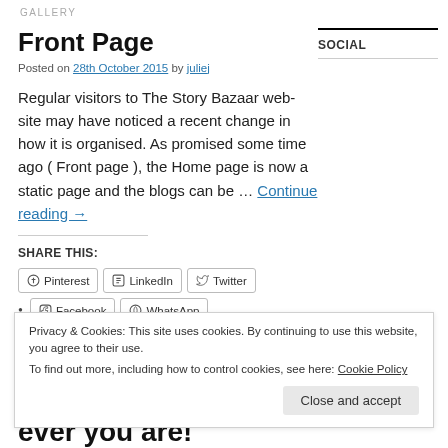GALLERY
SOCIAL
Front Page
Posted on 28th October 2015 by juliej
Regular visitors to The Story Bazaar web-site may have noticed a recent change in how it is organised. As promised some time ago ( Front page ), the Home page is now a static page and the blogs can be … Continue reading →
SHARE THIS:
Pinterest  LinkedIn  Twitter
Facebook  WhatsApp
Privacy & Cookies: This site uses cookies. By continuing to use this website, you agree to their use.
To find out more, including how to control cookies, see here: Cookie Policy
Close and accept
ever you are!